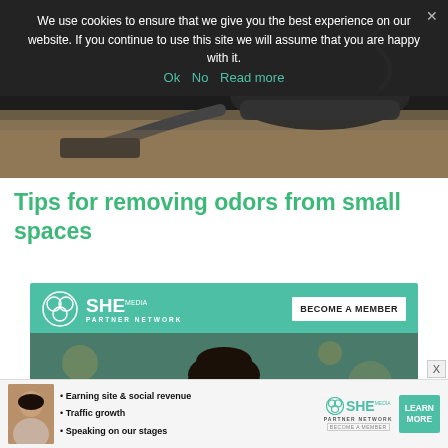[Figure (photo): Hero image showing a vacuum cleaner on carpet in a dark/moody setting]
We use cookies to ensure that we give you the best experience on our website. If you continue to use this site we will assume that you are happy with it.
Ok   No   Read more
Tips for removing odors from small spaces
[Figure (infographic): SHE Media Partner Network advertisement banner with 'BECOME A MEMBER' button and photo of smiling woman with laptop]
[Figure (infographic): Bottom SHE Media Partner Network banner ad with bullet points: Earning site & social revenue, Traffic growth, Speaking on our stages. LEARN MORE button.]